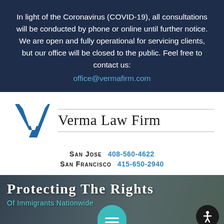In light of the Coronavirus (COVID-19), all consultations will be conducted by phone or online until further notice. We are open and fully operational for servicing clients, but our office will be closed to the public. Feel free to contact us: office@vermafirm.com
[Figure (logo): Verma Law Firm logo — a blue angular V chevron mark on the left, with horizontal lines above and below the text 'Verma Law Firm' in serif font]
San Jose  408-560-4622
San Francisco  415-650-2940
[Figure (photo): Background photo of a group of people smiling, overlaid with dark semi-transparent layer. Large white serif text reads 'Protecting The Rights' and teal subtitle text reads 'Of Immigrants Nationwide'. A teal rounded button with hamburger menu icon and a black circular accessibility icon are overlaid.]